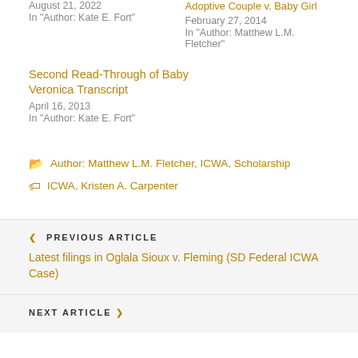August 21, 2022
In "Author: Kate E. Fort"
Adoptive Couple v. Baby Girl
February 27, 2014
In "Author: Matthew L.M. Fletcher"
Second Read-Through of Baby Veronica Transcript
April 16, 2013
In "Author: Kate E. Fort"
Author: Matthew L.M. Fletcher, ICWA, Scholarship
ICWA, Kristen A. Carpenter
< PREVIOUS ARTICLE
Latest filings in Oglala Sioux v. Fleming (SD Federal ICWA Case)
NEXT ARTICLE >